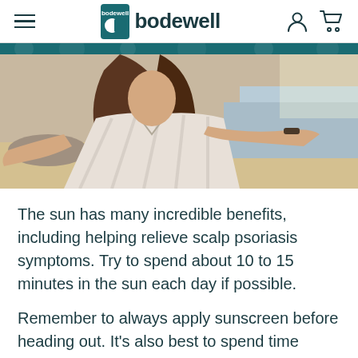bodewell
[Figure (photo): A woman with long brown hair wearing a white striped button-up shirt, photographed at a beach, appearing to take a selfie with one arm extended toward the camera.]
The sun has many incredible benefits, including helping relieve scalp psoriasis symptoms. Try to spend about 10 to 15 minutes in the sun each day if possible.
Remember to always apply sunscreen before heading out. It's also best to spend time